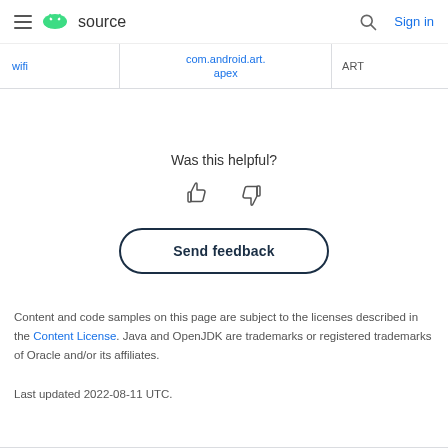source  Sign in
| wifi | com.android.art.apex | ART |
| --- | --- | --- |
| wifi | com.android.art.apex | ART |
Was this helpful?
[Figure (illustration): Thumbs up and thumbs down icons for feedback rating]
Send feedback
Content and code samples on this page are subject to the licenses described in the Content License. Java and OpenJDK are trademarks or registered trademarks of Oracle and/or its affiliates.
Last updated 2022-08-11 UTC.